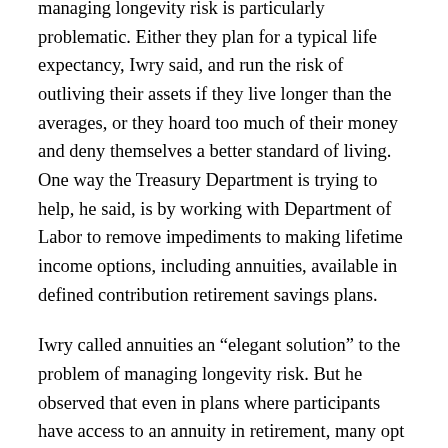managing longevity risk is particularly problematic. Either they plan for a typical life expectancy, Iwry said, and run the risk of outliving their assets if they live longer than the averages, or they hoard too much of their money and deny themselves a better standard of living. One way the Treasury Department is trying to help, he said, is by working with Department of Labor to remove impediments to making lifetime income options, including annuities, available in defined contribution retirement savings plans.
Iwry called annuities an “elegant solution” to the problem of managing longevity risk. But he observed that even in plans where participants have access to an annuity in retirement, many opt for a lump sum benefit instead.
Iwry confessed that his enthusiasm for lifetime income